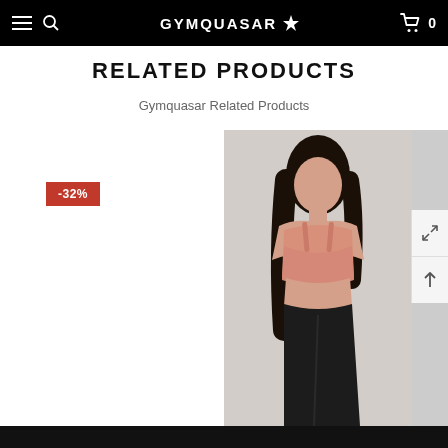GYMQUASAR — navigation bar with hamburger, search, logo, cart (0)
RELATED PRODUCTS
Gymquasar Related Products
[Figure (photo): Product card on the left with a -32% discount badge; product card on the right showing a woman wearing a pink sports bra and black leggings against a light grey background.]